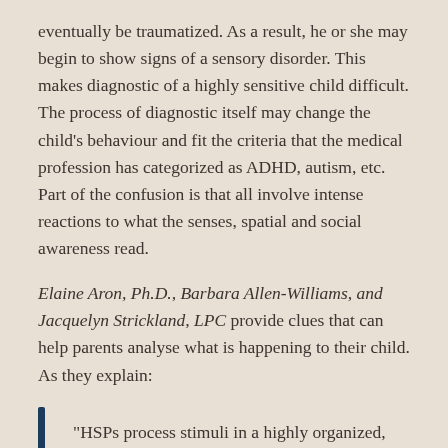eventually be traumatized. As a result, he or she may begin to show signs of a sensory disorder. This makes diagnostic of a highly sensitive child difficult. The process of diagnostic itself may change the child's behaviour and fit the criteria that the medical profession has categorized as ADHD, autism, etc. Part of the confusion is that all involve intense reactions to what the senses, spatial and social awareness read.
Elaine Aron, Ph.D., Barbara Allen-Williams, and Jacquelyn Strickland, LPC provide clues that can help parents analyse what is happening to their child. As they explain:
“HSPs process stimuli in a highly organized, big picture way, which includes awareness of nuances and subtleties that others might not notice. Again